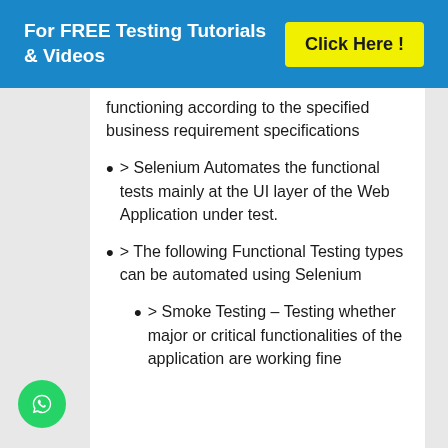For FREE Testing Tutorials & Videos   Click Here !
functioning according to the specified business requirement specifications
> Selenium Automates the functional tests mainly at the UI layer of the Web Application under test.
> The following Functional Testing types can be automated using Selenium
> Smoke Testing – Testing whether major or critical functionalities of the application are working fine